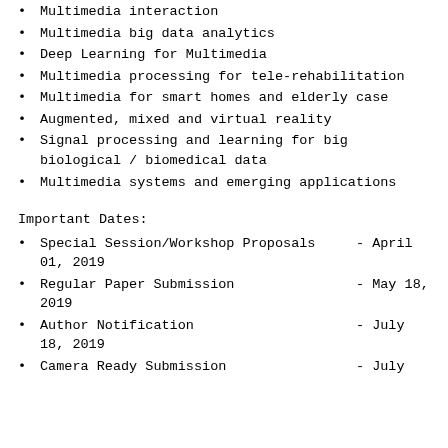Multimedia interaction
Multimedia big data analytics
Deep Learning for Multimedia
Multimedia processing for tele-rehabilitation
Multimedia for smart homes and elderly case
Augmented, mixed and virtual reality
Signal processing and learning for big biological / biomedical data
Multimedia systems and emerging applications
Important Dates:
Special Session/Workshop Proposals     - April 01, 2019
Regular Paper Submission               - May 18, 2019
Author Notification                    - July 18, 2019
Camera Ready Submission                - July